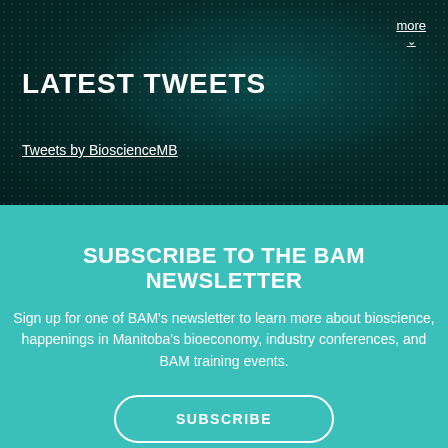LATEST TWEETS
Tweets by BioscienceMB
SUBSCRIBE TO THE BAM NEWSLETTER
Sign up for one of BAM's newsletter to learn more about bioscience, happenings in Manitoba's bioeconomy, industry conferences, and BAM training events.
SUBSCRIBE